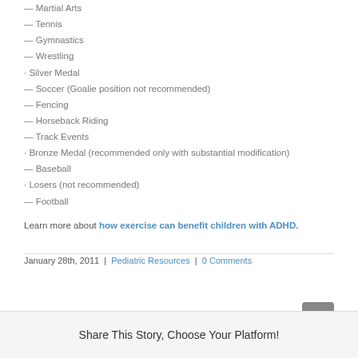— Martial Arts
— Tennis
— Gymnastics
— Wrestling
· Silver Medal
— Soccer (Goalie position not recommended)
— Fencing
— Horseback Riding
— Track Events
· Bronze Medal (recommended only with substantial modification)
— Baseball
· Losers (not recommended)
— Football
Learn more about how exercise can benefit children with ADHD.
January 28th, 2011  |  Pediatric Resources  |  0 Comments
Share This Story, Choose Your Platform!